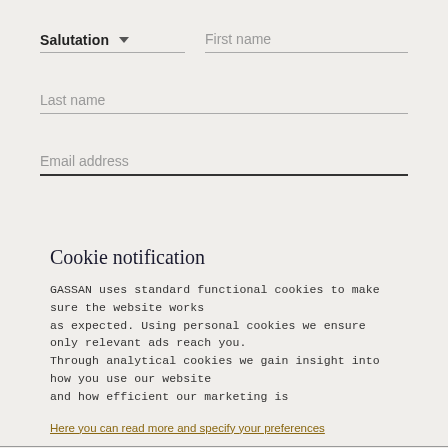Salutation
First name
Last name
Email address
Cookie notification
GASSAN uses standard functional cookies to make sure the website works as expected. Using personal cookies we ensure only relevant ads reach you. Through analytical cookies we gain insight into how you use our website and how efficient our marketing is
Here you can read more and specify your preferences
ACCEPT ALL